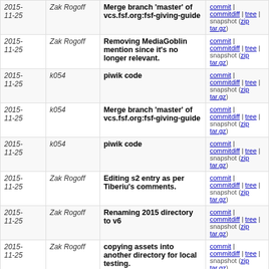| Date | Author | Message | Links |
| --- | --- | --- | --- |
| 2015-11-25 | Zak Rogoff | Merge branch 'master' of vcs.fsf.org:fsf-giving-guide | commit | commitdiff | tree | snapshot (zip tar.gz) |
| 2015-11-25 | Zak Rogoff | Removing MediaGoblin mention since it's no longer relevant. | commit | commitdiff | tree | snapshot (zip tar.gz) |
| 2015-11-25 | k054 | piwik code | commit | commitdiff | tree | snapshot (zip tar.gz) |
| 2015-11-25 | k054 | Merge branch 'master' of vcs.fsf.org:fsf-giving-guide | commit | commitdiff | tree | snapshot (zip tar.gz) |
| 2015-11-25 | k054 | piwik code | commit | commitdiff | tree | snapshot (zip tar.gz) |
| 2015-11-25 | Zak Rogoff | Editing s2 entry as per Tiberiu's comments. | commit | commitdiff | tree | snapshot (zip tar.gz) |
| 2015-11-25 | Zak Rogoff | Renaming 2015 directory to v6 | commit | commitdiff | tree | snapshot (zip tar.gz) |
| 2015-11-25 | Zak Rogoff | copying assets into another directory for local testing. | commit | commitdiff | tree | snapshot (zip tar.gz) |
| 2015-11-25 | Zak Rogoff | updating file path | commit | commitdiff | tree | snapshot (zip tar.gz) |
| 2015-11-25 | Zak Rogoff | Adding promotion information. It's now ready for review. | commit | commitdiff | tree | snapshot (zip tar.gz) |
| 2015-11-25 | Zak Rogoff | Text tweaks, adding links. | commit | commitdiff | tree | snapshot (zip tar.gz) |
| 2015-11-25 | Zak Rogoff | A variety of changes, almost done now. | commit | commitdiff | tree | snapshot (zip tar.gz) |